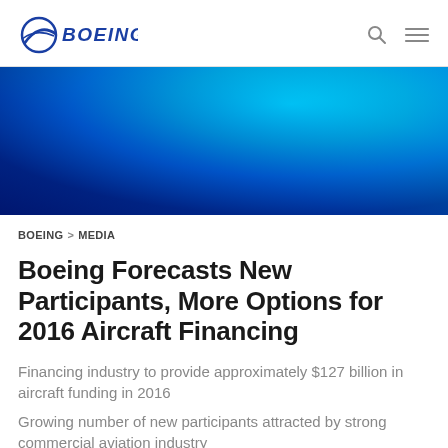BOEING
[Figure (illustration): Boeing hero banner with blue gradient from dark blue (bottom-left) to bright cyan/light blue (top-right)]
BOEING > MEDIA
Boeing Forecasts New Participants, More Options for 2016 Aircraft Financing
Financing industry to provide approximately $127 billion in aircraft funding in 2016
Growing number of new participants attracted by strong commercial aviation industry